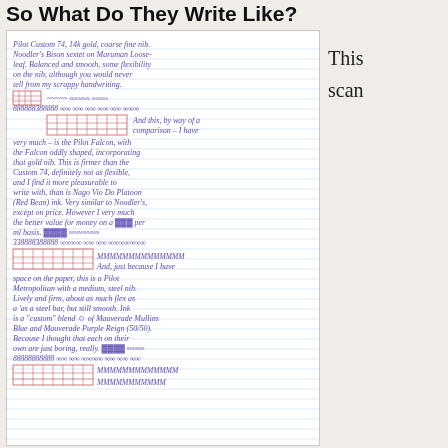So What Do They Write Like?
[Figure (photo): A scan of handwritten fountain pen writing on lined paper, showing handwriting samples and nib flex tests with blue and red ink, describing various pen reviews including Pilot Custom 74 and Pilot Metropolitan.]
This scan